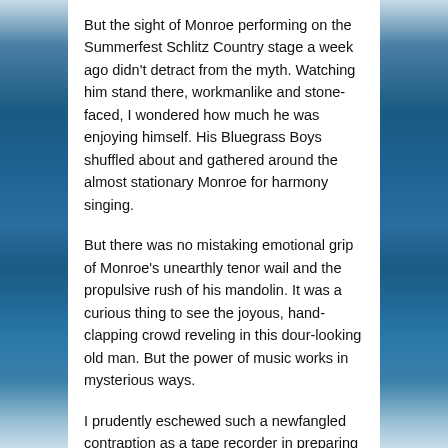[Figure (photo): Ocean water background on left side of page]
[Figure (photo): Ocean water background on right side of page]
But the sight of Monroe performing on the Summerfest Schlitz Country stage a week ago didn't detract from the myth. Watching him stand there, workmanlike and stone-faced, I wondered how much he was enjoying himself. His Bluegrass Boys shuffled about and gathered around the almost stationary Monroe for harmony singing.
But there was no mistaking emotional grip of Monroe's unearthly tenor wail and the propulsive rush of his mandolin. It was a curious thing to see the joyous, hand-clapping crowd reveling in this dour-looking old man. But the power of music works in mysterious ways.
I prudently eschewed such a newfangled contraption as a tape recorder in preparing for a backstage interview. “He's an ornery old fella,” Schlitz stage manager Bill Gorman told me, with an assuring smile. He introduced us and, with a trace of trepidation, I shook Monroe's hand.
“It's a pleasure to know you, sir,” he said immediately. Monroe was now wearing thick glasses (possibly for